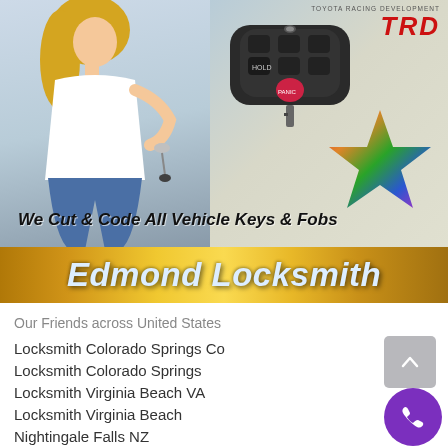[Figure (photo): Advertisement banner for Edmond Locksmith showing a woman holding car keys, a car key fob remote, a TRD (Toyota Racing Development) logo, a colorful star graphic, the slogan 'We Cut & Code All Vehicle Keys & Fobs', and a gold/yellow decorative banner reading 'Edmond Locksmith' in stylized italic text.]
Our Friends across United States
Locksmith Colorado Springs Co
Locksmith Colorado Springs
Locksmith Virginia Beach VA
Locksmith Virginia Beach
Nightingale Falls NZ